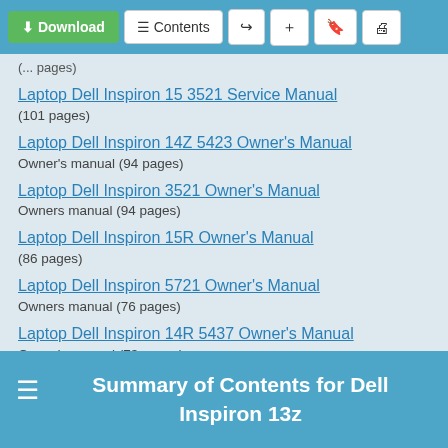Toolbar with Download, Contents, Share, Add, Bookmark, Print buttons
(... pages)
Laptop Dell Inspiron 15 3521 Service Manual
(101 pages)
Laptop Dell Inspiron 14Z 5423 Owner's Manual
Owner's manual (94 pages)
Laptop Dell Inspiron 3521 Owner's Manual
Owners manual (94 pages)
Laptop Dell Inspiron 15R Owner's Manual
(86 pages)
Laptop Dell Inspiron 5721 Owner's Manual
Owners manual (76 pages)
Laptop Dell Inspiron 14R 5437 Owner's Manual
Owner's manual (73 pages)
Summary of Contents for Dell Inspiron 13z